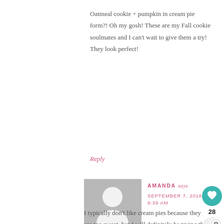Oatmeal cookie + pumpkin in cream pie form?! Oh my gosh! These are my Fall cookie soulmates and I can't wait to give them a try! They look perfect!
Reply
[Figure (illustration): Generic user avatar: gray background square with white silhouette of head and shoulders]
AMANDA says SEPTEMBER 7, 2018 AT 8:39 AM
I typically don't like cream pies because they are too sweet, but I will definitely be trying this to see if i...